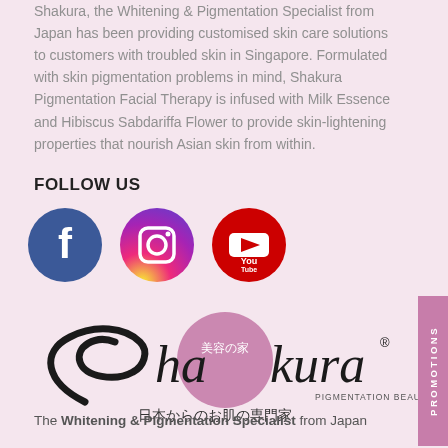Shakura, the Whitening & Pigmentation Specialist from Japan has been providing customised skin care solutions to customers with troubled skin in Singapore. Formulated with skin pigmentation problems in mind, Shakura Pigmentation Facial Therapy is infused with Milk Essence and Hibiscus Sabdariffa Flower to provide skin-lightening properties that nourish Asian skin from within.
FOLLOW US
[Figure (logo): Facebook, Instagram, and YouTube social media icons in blue, purple/pink, and red circles respectively]
[Figure (logo): Shakura Pigmentation Beauty logo with Japanese text 日本からのお肌の専門家 and pink circle with 美容の家 kanji]
The Whitening & Pigmentation Specialist from Japan